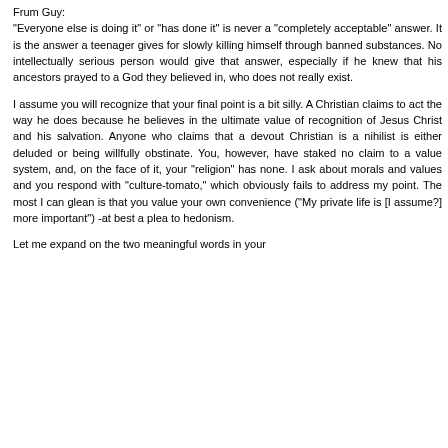Frum Guy:
“Everyone else is doing it” or “has done it” is never a “completely acceptable” answer. It is the answer a teenager gives for slowly killing himself through banned substances. No intellectually serious person would give that answer, especially if he knew that his ancestors prayed to a God they believed in, who does not really exist.
I assume you will recognize that your final point is a bit silly. A Christian claims to act the way he does because he believes in the ultimate value of recognition of Jesus Christ and his salvation. Anyone who claims that a devout Christian is a nihilist is either deluded or being willfully obstinate. You, however, have staked no claim to a value system, and, on the face of it, your “religion” has none. I ask about morals and values and you respond with “culture-tomato,” which obviously fails to address my point. The most I can glean is that you value your own convenience (“My private life is [I assume?] more important”) -at best a plea to hedonism.
Let me expand on the two meaningful words in your